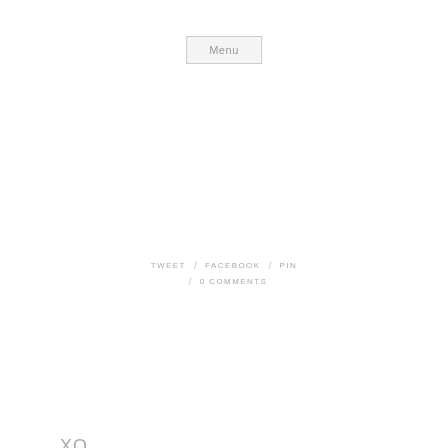Menu
XO, J
TWEET / FACEBOOK / PIN / 0 COMMENTS
OLDER